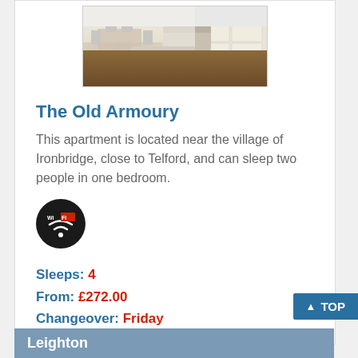[Figure (photo): Interior photo of apartment showing open-plan kitchen/dining area with wooden floor, dining table with chairs, and white kitchen units]
The Old Armoury
This apartment is located near the village of Ironbridge, close to Telford, and can sleep two people in one bedroom.
[Figure (logo): Wi-Fi logo badge — black circular badge with Wi Fi text in white]
Sleeps: 4
From: £272.00
Changeover: Friday
Leighton